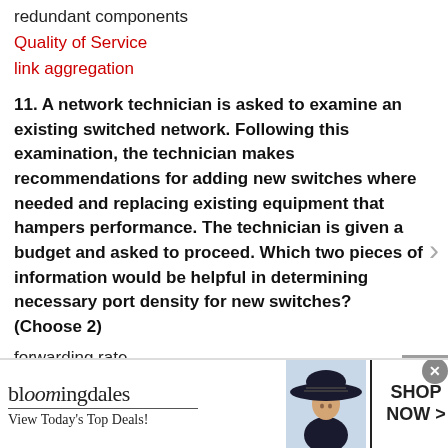redundant components
Quality of Service
link aggregation
11. A network technician is asked to examine an existing switched network. Following this examination, the technician makes recommendations for adding new switches where needed and replacing existing equipment that hampers performance. The technician is given a budget and asked to proceed. Which two pieces of information would be helpful in determining necessary port density for new switches? (Choose 2)
forwarding rate
traffic flow analysis
[Figure (other): Bloomingdale's advertisement banner with logo, tagline 'View Today's Top Deals!', woman in hat image, and 'SHOP NOW >' call to action button]